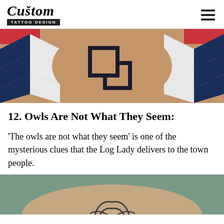Custom Tattoo Design
[Figure (photo): Photo of a tattoo showing a geometric square/angular symbol on skin, with a blue and white chevron zigzag pattern fabric in the background and red corners visible.]
12. Owls Are Not What They Seem:
'The owls are not what they seem' is one of the mysterious clues that the Log Lady delivers to the town people.
[Figure (photo): Photo of a tattoo on someone's side/ribcage area, partial view, showing an owl or similar detailed tattoo design. Background is teal/green colored clothing.]